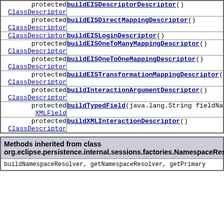| modifier/type | method |
| --- | --- |
| protected ClassDescriptor | buildEISDescriptorDescriptor() |
| protected ClassDescriptor | buildEISDirectMappingDescriptor() |
| ClassDescriptor | buildEISLoginDescriptor() |
| protected ClassDescriptor | buildEISOneToManyMappingDescriptor() |
| protected ClassDescriptor | buildEISOneToOneMappingDescriptor() |
| protected ClassDescriptor | buildEISTransformationMappingDescriptor( |
| protected ClassDescriptor | buildInteractionArgumentDescriptor() |
| protected XMLField | buildTypedField(java.lang.String fieldNa |
| protected ClassDescriptor | buildXMLInteractionDescriptor() |
Methods inherited from class org.eclipse.persistence.internal.sessions.factories.NamespaceRes
buildNamespaceResolver, getNamespaceResolver, getPrimary